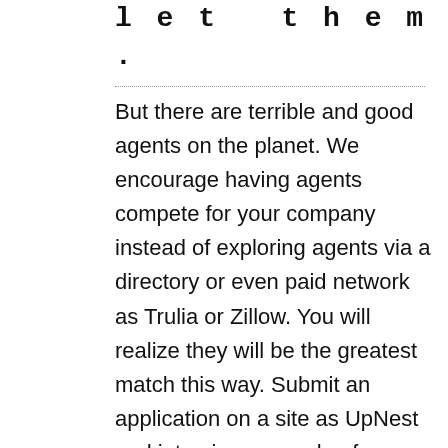let them.
But there are terrible and good agents on the planet. We encourage having agents compete for your company instead of exploring agents via a directory or even paid network as Trulia or Zillow. You will realize they will be the greatest match this way. Submit an application on a site as UpNest and interview a couple of agents. Examine their